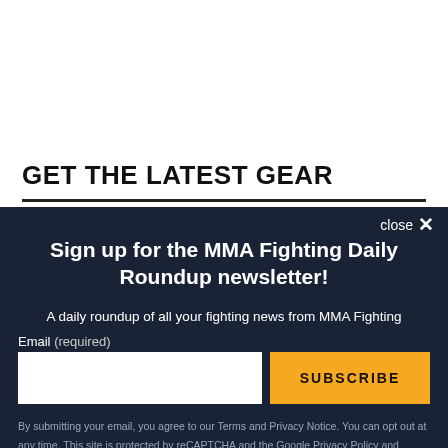GET THE LATEST GEAR
Sign up for the MMA Fighting Daily Roundup newsletter!
A daily roundup of all your fighting news from MMA Fighting
Email (required)
SUBSCRIBE
By submitting your email, you agree to our Terms and Privacy Notice. You can opt out at any time. This site is protected by reCAPTCHA and the Google Privacy Policy and Terms of Service apply.